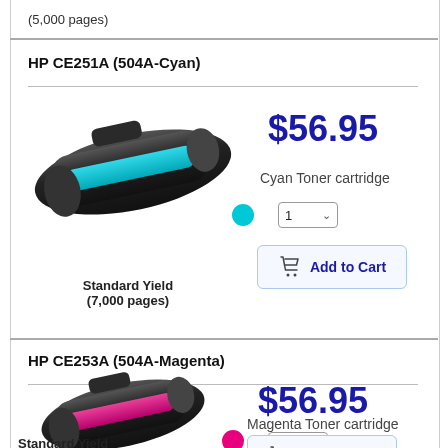(5,000 pages)
HP CE251A (504A-Cyan)
$56.95
Cyan Toner cartridge
Standard Yield
(7,000 pages)
HP CE253A (504A-Magenta)
$56.95
Magenta Toner cartridge
Standard Yield